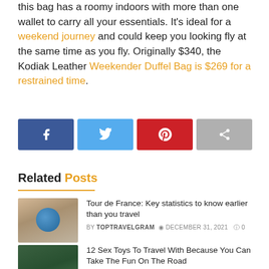this bag has a roomy indoors with more than one wallet to carry all your essentials. It's ideal for a weekend journey and could keep you looking fly at the same time as you fly. Originally $340, the Kodiak Leather Weekender Duffel Bag is $269 for a restrained time.
[Figure (infographic): Row of four social share buttons: Facebook (dark blue), Twitter (light blue), Pinterest (red), Share (grey)]
Related Posts
[Figure (photo): Hand holding a globe with landscape background]
Tour de France: Key statistics to know earlier than you travel
BY TOPTRAVELGRAM  DECEMBER 31, 2021  0
[Figure (photo): Forest of tall green trees]
12 Sex Toys To Travel With Because You Can Take The Fun On The Road